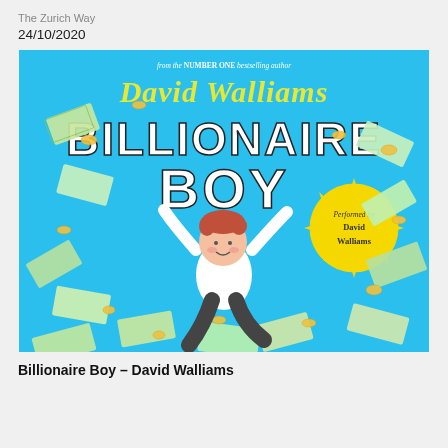The Zurich Way
24/10/2020
[Figure (illustration): Book cover of 'Billionaire Boy' by David Walliams. Blue background with a cartoon boy jumping surrounded by flying money notes and coins. Yellow handwritten-style text reading 'David Walliams' at top, large black and white 'BILLIONAIRE BOY' text in center. Top text reads 'from the NUMBER ONE bestselling author'. Yellow circular badge on right reads 'Performed by David Walliams'.]
Billionaire Boy – David Walliams